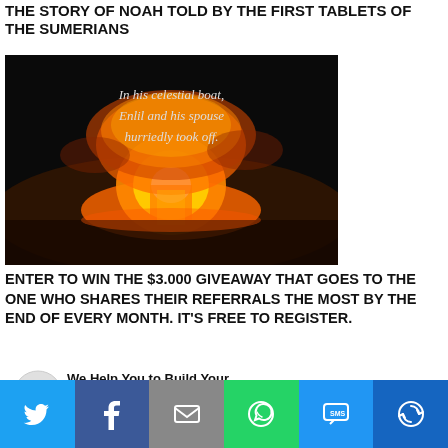THE STORY OF NOAH TOLD BY THE FIRST TABLETS OF THE SUMERIANS
[Figure (screenshot): Dark background image showing a nuclear explosion mushroom cloud with white italic text overlay reading: 'In his celestial boat, Enlil and his spouse hurriedly took off.']
ENTER TO WIN THE $3.000 GIVEAWAY THAT GOES TO THE ONE WHO SHARES THEIR REFERRALS THE MOST BY THE END OF EVERY MONTH. IT'S FREE TO REGISTER.
[Figure (screenshot): Advertisement: 'We Help You to Build Your Network Marketing Business. Meet real people looking for a business opportunity. Generate hundreds of']
[Figure (infographic): Social sharing bar with six buttons: Twitter (blue bird), Facebook (blue f), Email (grey envelope), WhatsApp (green phone), SMS (blue speech bubble), More (dark blue circle arrow)]